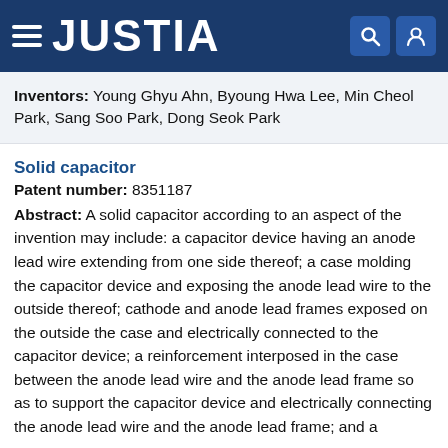JUSTIA
Inventors: Young Ghyu Ahn, Byoung Hwa Lee, Min Cheol Park, Sang Soo Park, Dong Seok Park
Solid capacitor
Patent number: 8351187
Abstract: A solid capacitor according to an aspect of the invention may include: a capacitor device having an anode lead wire extending from one side thereof; a case molding the capacitor device and exposing the anode lead wire to the outside thereof; cathode and anode lead frames exposed on the outside the case and electrically connected to the capacitor device; a reinforcement interposed in the case between the anode lead wire and the anode lead frame so as to support the capacitor device and electrically connecting the anode lead wire and the anode lead frame; and a